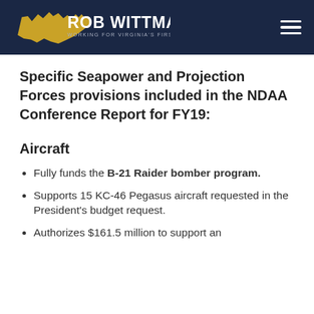ROB WITTMAN — WORKING FOR VIRGINIA'S FIRST DISTRICT
Specific Seapower and Projection Forces provisions included in the NDAA Conference Report for FY19:
Aircraft
Fully funds the B-21 Raider bomber program.
Supports 15 KC-46 Pegasus aircraft requested in the President's budget request.
Authorizes $161.5 million to support an